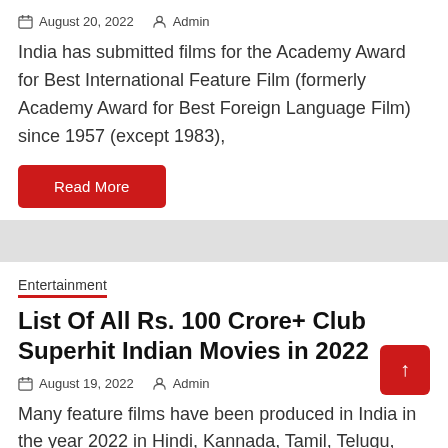August 20, 2022   Admin
India has submitted films for the Academy Award for Best International Feature Film (formerly Academy Award for Best Foreign Language Film) since 1957 (except 1983),
Read More
Entertainment
List Of All Rs. 100 Crore+ Club Superhit Indian Movies in 2022
August 19, 2022   Admin
Many feature films have been produced in India in the year 2022 in Hindi, Kannada, Tamil, Telugu, Malayalam